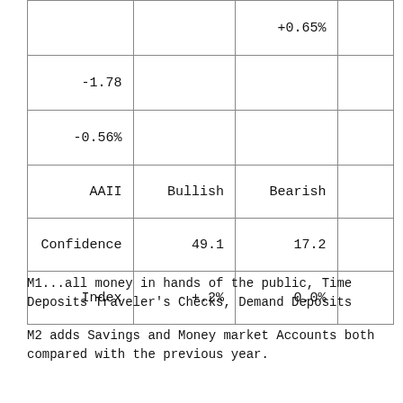|  |  | +0.65% |
| --- | --- | --- |
| -1.78 |  |  |
| -0.56% |  |  |
| AAII | Bullish | Bearish |  |
| Confidence | 49.1 | 17.2 |  |
| Index | +.2% | 0.0% |  |
M1...all money in hands of the public, Time Deposits Traveler's Checks, Demand Deposits
M2 adds Savings and Money market Accounts both compared with the previous year.